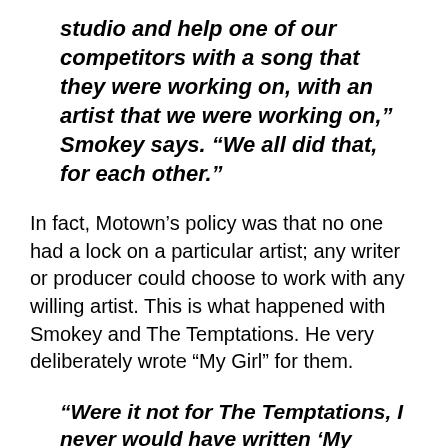studio and help one of our competitors with a song that they were working on, with an artist that we were working on,” Smokey says. “We all did that, for each other.”
In fact, Motown’s policy was that no one had a lock on a particular artist; any writer or producer could choose to work with any willing artist. This is what happened with Smokey and The Temptations. He very deliberately wrote “My Girl” for them.
“Were it not for The Temptations, I never would have written ‘My Girl,’” Smokey says.